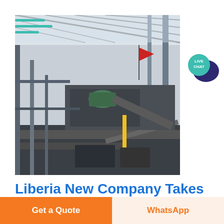[Figure (photo): Interior of a large industrial facility showing mining or mineral processing machinery, conveyor belts, steel structural framework, and a red flag in the background under a translucent roof.]
Liberia New Company Takes
Get a Quote
WhatsApp